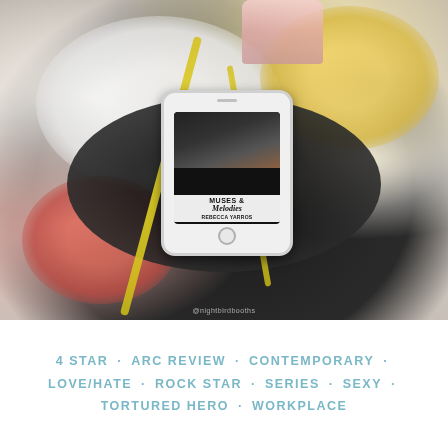[Figure (photo): A styled book photo featuring a smartphone displaying the cover of 'Muses & Melodies' by Rebecca Yarros, placed on a black guitar body surrounded by white, yellow, and red/pink flowers, yellow ribbons, and a pink candle in the background. Watermark '@nightbirdbooths' visible.]
4 STAR · ARC REVIEW · CONTEMPORARY · LOVE/HATE · ROCK STAR · SERIES · SEXY · TORTURED HERO · WORKPLACE